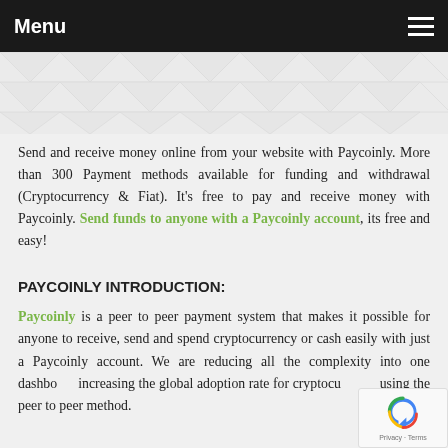Menu
January 17, 2020
Send and receive money online from your website with Paycoinly. More than 300 Payment methods available for funding and withdrawal (Cryptocurrency & Fiat). It's free to pay and receive money with Paycoinly. Send funds to anyone with a Paycoinly account, its free and easy!
PAYCOINLY INTRODUCTION:
Paycoinly is a peer to peer payment system that makes it possible for anyone to receive, send and spend cryptocurrency or cash easily with just a Paycoinly account. We are reducing all the complexity into one dashboard increasing the global adoption rate for cryptocurrency using the peer to peer method.